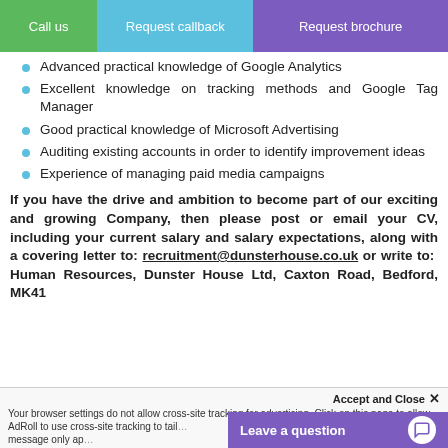Call us | Request callback | Request brochure
Advanced practical knowledge of Google Analytics
Excellent knowledge on tracking methods and Google Tag Manager
Good practical knowledge of Microsoft Advertising
Auditing existing accounts in order to identify improvement ideas
Experience of managing paid media campaigns
If you have the drive and ambition to become part of our exciting and growing Company, then please post or email your CV, including your current salary and salary expectations, along with a covering letter to: recruitment@dunsterhouse.co.uk or write to: Human Resources, Dunster House Ltd, Caxton Road, Bedford, MK41
Accept and Close ✕
Your browser settings do not allow cross-site tracking for advertising. Click on this page to allow AdRoll to use cross-site tracking to tailor advertising for you. Click on this page to allow by clicking here. This message only ap...